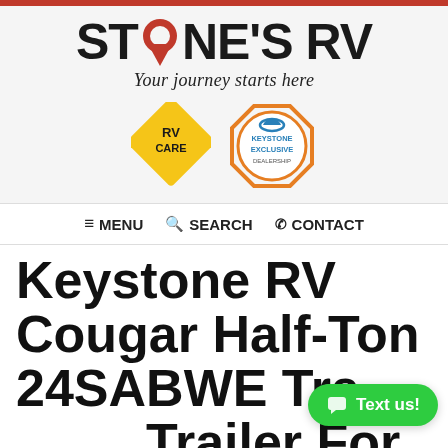[Figure (logo): Stone's RV logo with location pin replacing the letter O, tagline 'Your journey starts here', RV Care diamond badge, and Keystone Exclusive Dealership circular badge]
≡ MENU   Q SEARCH   ☏ CONTACT
Keystone RV Cougar Half-Ton 24SABWE Travel Trailer For Sale